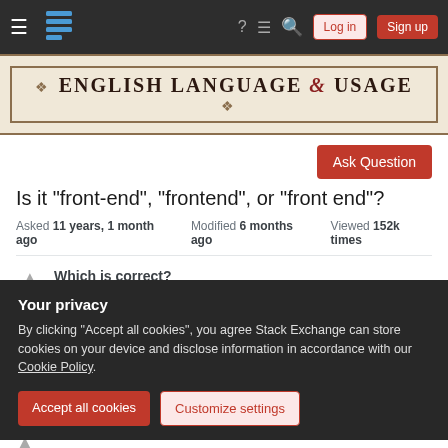English Language & Usage — Stack Exchange navigation bar with Log in and Sign up buttons
ENGLISH LANGUAGE & USAGE
Ask Question
Is it "front-end", "frontend", or "front end"?
Asked 11 years, 1 month ago   Modified 6 months ago   Viewed 152k times
Which is correct?
Your privacy
By clicking "Accept all cookies", you agree Stack Exchange can store cookies on your device and disclose information in accordance with our Cookie Policy.
Accept all cookies   Customize settings
I looked over